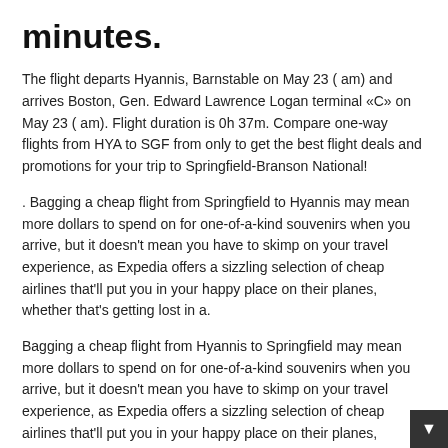minutes.
The flight departs Hyannis, Barnstable on May 23 ( am) and arrives Boston, Gen. Edward Lawrence Logan terminal «C» on May 23 ( am). Flight duration is 0h 37m. Compare one-way flights from HYA to SGF from only to get the best flight deals and promotions for your trip to Springfield-Branson National!
. Bagging a cheap flight from Springfield to Hyannis may mean more dollars to spend on for one-of-a-kind souvenirs when you arrive, but it doesn't mean you have to skimp on your travel experience, as Expedia offers a sizzling selection of cheap airlines that'll put you in your happy place on their planes, whether that's getting lost in a.
Bagging a cheap flight from Hyannis to Springfield may mean more dollars to spend on for one-of-a-kind souvenirs when you arrive, but it doesn't mean you have to skimp on your travel experience, as Expedia offers a sizzling selection of cheap airlines that'll put you in your happy place on their planes, whether that's getting lost in a.